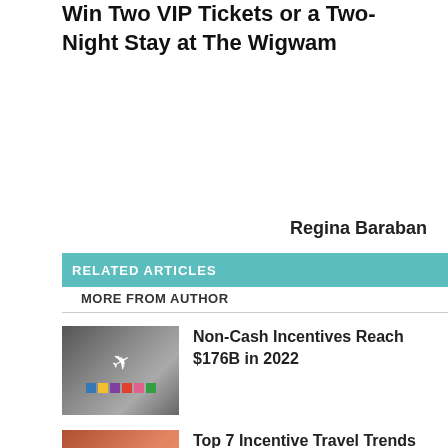Win Two VIP Tickets or a Two-Night Stay at The Wigwam
Regina Baraban
http://prevuemeetings.com
RELATED ARTICLES
MORE FROM AUTHOR
[Figure (photo): Thumbnail image with a toy airplane, passport, and colorful blocks on a dark surface]
Non-Cash Incentives Reach $176B in 2022
[Figure (photo): Thumbnail image of two people, likely for incentive travel trends article]
Top 7 Incentive Travel Trends